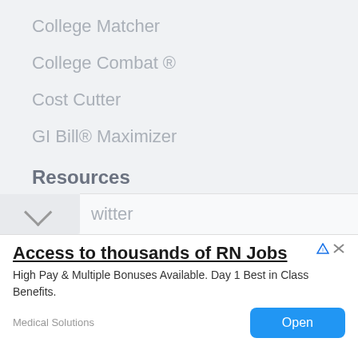College Matcher
College Combat ®
Cost Cutter
GI Bill® Maximizer
Resources
College Rankings
College Profiles
Major Profiles
Inside CF Blog
Feedback & Support
Follow
witter
[Figure (screenshot): Advertisement banner: 'Access to thousands of RN Jobs' with AdChoices and close icons, body text 'High Pay & Multiple Bonuses Available. Day 1 Best in Class Benefits.', source 'Medical Solutions', and an 'Open' button in blue.]